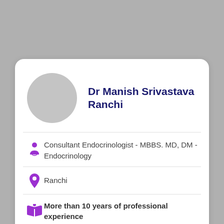Dr Manish Srivastava Ranchi
Consultant Endocrinologist - MBBS. MD, DM - Endocrinology
Ranchi
More than 10 years of professional experience